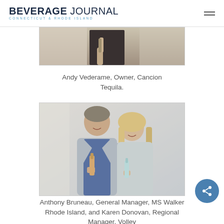BEVERAGE JOURNAL Connecticut & Rhode Island
[Figure (photo): Partial photo of Andy Vederame holding a bottle, top portion visible]
Andy Vederame, Owner, Cancion Tequila.
[Figure (photo): Photo of Anthony Bruneau and Karen Donovan smiling, each holding a bottle]
Anthony Bruneau, General Manager, MS Walker Rhode Island, and Karen Donovan, Regional Manager, Volley